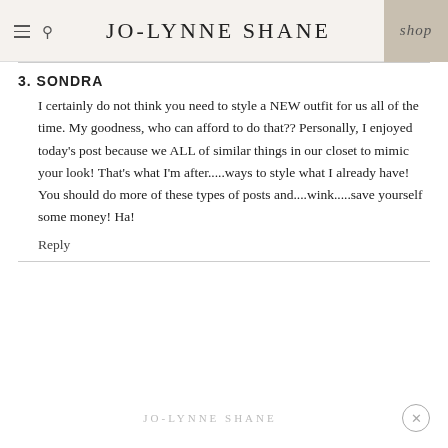JO-LYNNE SHANE  shop
3. SONDRA

I certainly do not think you need to style a NEW outfit for us all of the time. My goodness, who can afford to do that?? Personally, I enjoyed today's post because we ALL of similar things in our closet to mimic your look! That's what I'm after.....ways to style what I already have! You should do more of these types of posts and....wink.....save yourself some money! Ha!

Reply
JO-LYNNE SHANE